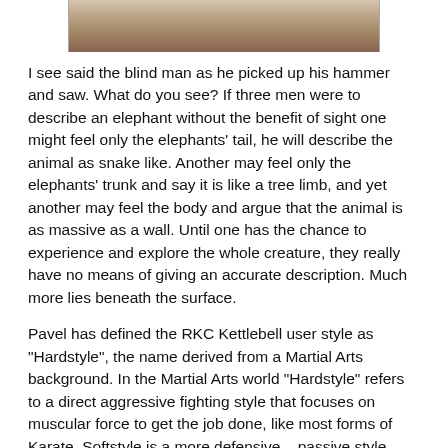[Figure (photo): Partial photograph visible at top of page, appears to show a ground or sandy surface scene.]
I see said the blind man as he picked up his hammer and saw. What do you see? If three men were to describe an elephant without the benefit of sight one might feel only the elephants' tail, he will describe the animal as snake like. Another may feel only the elephants' trunk and say it is like a tree limb, and yet another may feel the body and argue that the animal is as massive as a wall. Until one has the chance to experience and explore the whole creature, they really have no means of giving an accurate description. Much more lies beneath the surface.
Pavel has defined the RKC Kettlebell user style as "Hardstyle", the name derived from a Martial Arts background. In the Martial Arts world "Hardstyle" refers to a direct aggressive fighting style that focuses on muscular force to get the job done, like most forms of Karate. Softstyle is a more defensive – passive style, relying on redirection and flowing counter attacks, think Tai Chi. However these may be interpreted, the name is the tip of the iceberg. For the casual observer, the "Hardstyle" label renders images of full and total tension 100% of the time but he does